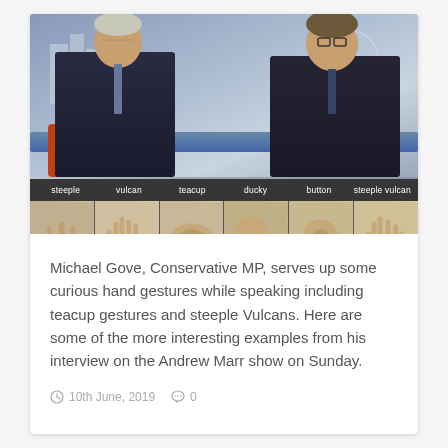[Figure (screenshot): Composite image showing Michael Gove and Andrew Marr in TV studio interview setting, with six thumbnail panels below showing various hand gestures labeled: steeple, vulcan, teacup, ducky, button, steeple vulcan]
Michael Gove, Conservative MP, serves up some curious hand gestures while speaking including teacup gestures and steeple Vulcans. Here are some of the more interesting examples from his interview on the Andrew Marr show on Sunday.
10th June, 2019   0